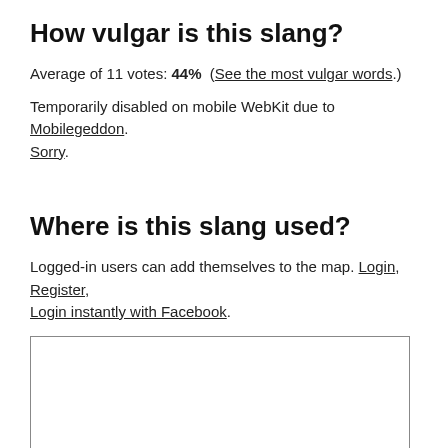How vulgar is this slang?
Average of 11 votes: 44%  (See the most vulgar words.)
Temporarily disabled on mobile WebKit due to Mobilegeddon. Sorry.
Where is this slang used?
Logged-in users can add themselves to the map. Login, Register, Login instantly with Facebook.
[Figure (other): Empty map box placeholder with border]